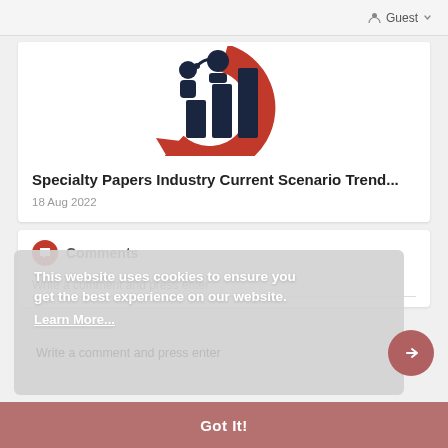Guest
[Figure (logo): Market Research report logo: red circular arrow with dark blue bar chart and connected figures icon inside]
Specialty Papers Industry Current Scenario Trend...
18 Aug 2022
Comments
This website uses cookies to ensure you get the best experience on our website.
Learn More...
Write a comment and press enter
Got It!